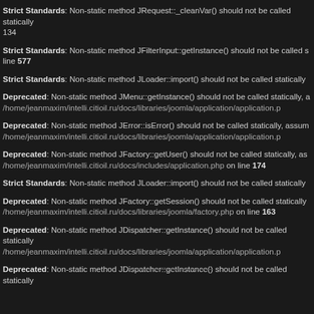Strict Standards: Non-static method JRequest::_cleanVar() should not be called statically 134
Strict Standards: Non-static method JFilterInput::getInstance() should not be called statically line 577
Strict Standards: Non-static method JLoader::import() should not be called statically
Deprecated: Non-static method JMenu::getInstance() should not be called statically, assuming $this from incompatible context in /home/jeanmaxim/intelli.citioil.ru/docs/libraries/joomla/application/application.php
Deprecated: Non-static method JError::isError() should not be called statically, assuming $this from incompatible context in /home/jeanmaxim/intelli.citioil.ru/docs/libraries/joomla/application/application.php
Deprecated: Non-static method JFactory::getUser() should not be called statically, assuming $this from incompatible context in /home/jeanmaxim/intelli.citioil.ru/docs/includes/application.php on line 174
Strict Standards: Non-static method JLoader::import() should not be called statically
Deprecated: Non-static method JFactory::getSession() should not be called statically /home/jeanmaxim/intelli.citioil.ru/docs/libraries/joomla/factory.php on line 163
Deprecated: Non-static method JDispatcher::getInstance() should not be called statically /home/jeanmaxim/intelli.citioil.ru/docs/libraries/joomla/application/application.php
Deprecated: Non-static method JDispatcher::getInstance() should not be called statically